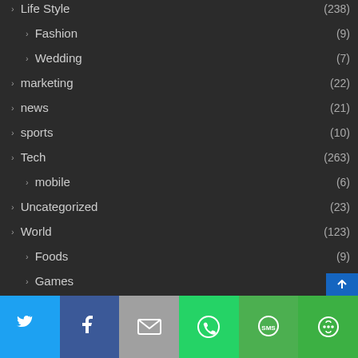Life Style (238)
Fashion (9)
Wedding (7)
marketing (22)
news (21)
sports (10)
Tech (263)
mobile (6)
Uncategorized (23)
World (123)
Foods (9)
Games (10)
News (23)
[Figure (infographic): Social sharing bar with Twitter, Facebook, Email, WhatsApp, SMS, and More buttons]